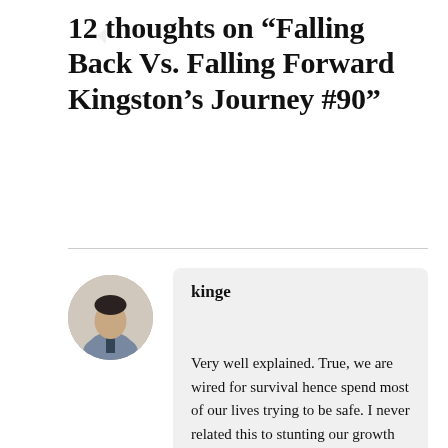12 thoughts on “Falling Back Vs. Falling Forward Kingston’s Journey #90”
kinge
Very well explained. True, we are wired for survival hence spend most of our lives trying to be safe. I never related this to stunting our growth until reading this. Some